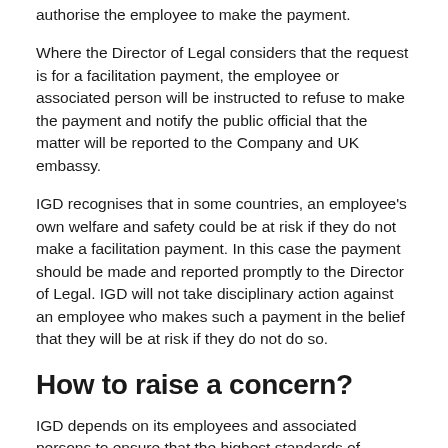authorise the employee to make the payment.
Where the Director of Legal considers that the request is for a facilitation payment, the employee or associated person will be instructed to refuse to make the payment and notify the public official that the matter will be reported to the Company and UK embassy.
IGD recognises that in some countries, an employee's own welfare and safety could be at risk if they do not make a facilitation payment. In this case the payment should be made and reported promptly to the Director of Legal. IGD will not take disciplinary action against an employee who makes such a payment in the belief that they will be at risk if they do not do so.
How to raise a concern?
IGD depends on its employees and associated persons to ensure that the highest standards of